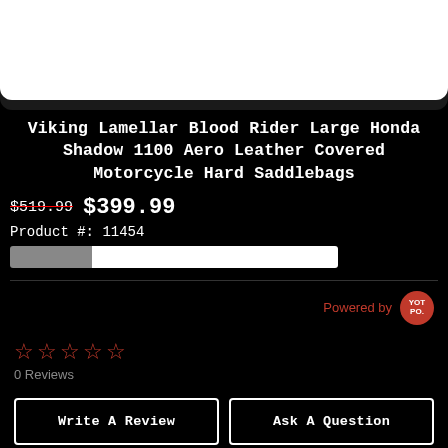[Figure (photo): Product image area, mostly white box on black background]
Viking Lamellar Blood Rider Large Honda Shadow 1100 Aero Leather Covered Motorcycle Hard Saddlebags
$519.99 $399.99
Product #: 11454
Powered by YOTPO
☆☆☆☆☆ 0 Reviews
Write A Review
Ask A Question
REVIEWS   QUESTIONS